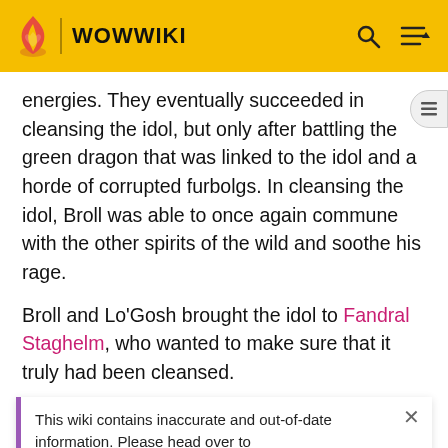WOWWIKI
energies. They eventually succeeded in cleansing the idol, but only after battling the green dragon that was linked to the idol and a horde of corrupted furbolgs. In cleansing the idol, Broll was able to once again commune with the other spirits of the wild and soothe his rage.
Broll and Lo'Gosh brought the idol to Fandral Staghelm, who wanted to make sure that it truly had been cleansed.
This wiki contains inaccurate and out-of-date information. Please head over to https://wowpedia.fandom.com for more accurate and up-to-date game information.
to accompany the warrior king until they assisted him in bringing the broodmother Onyxia to justice and returned Varian to his rightful throne; thus becoming a trusted